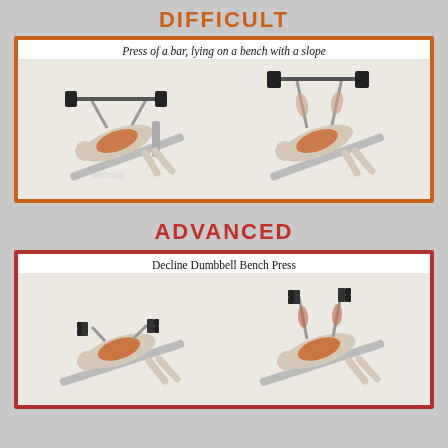DIFFICULT
[Figure (illustration): Two illustrations of a person performing a barbell press on a decline bench with a slope. Left image shows starting position with bar near chest; right image shows bar pressed overhead. Watermark 'embody' visible.]
Press of a bar, lying on a bench with a slope
ADVANCED
[Figure (illustration): Two illustrations of a person performing a Decline Dumbbell Bench Press. Left image shows dumbbells at chest level; right image shows dumbbells pressed up. Muscles shown highlighted in red/orange.]
Decline Dumbbell Bench Press